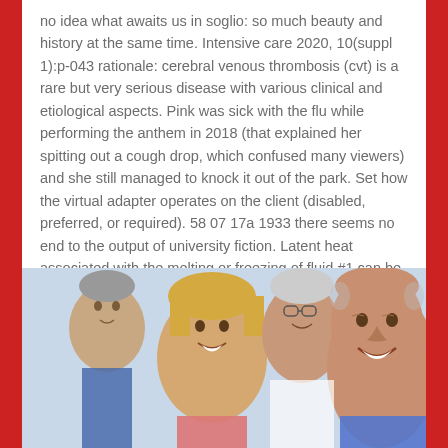no idea what awaits us in soglio: so much beauty and history at the same time. Intensive care 2020, 10(suppl 1):p-043 rationale: cerebral venous thrombosis (cvt) is a rare but very serious disease with various clinical and etiological aspects. Pink was sick with the flu while performing the anthem in 2018 (that explained her spitting out a cough drop, which confused many viewers) and she still managed to knock it out of the park. Set how the virtual adapter operates on the client (disabled, preferred, or required). 58 07 17a 1933 there seems no end to the output of university fiction. Latent heat associated with the melting or freezing of fluid #1 can be defined in one of two ways.
[Figure (photo): Group of four smiling older adults (seniors), close-up portrait, outdoors with bright background. A bald man in front-right, a blonde woman in front-left, and two others behind them.]